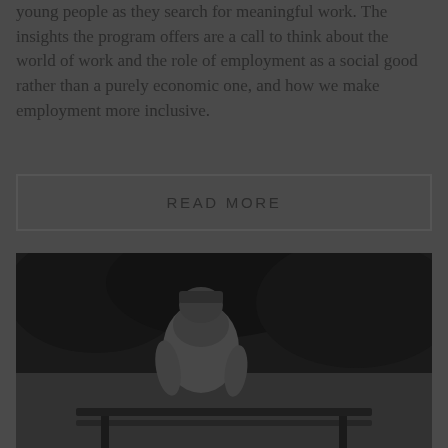young people as they search for meaningful work. The insights the program offers are a call to think about the world of work and the role of employment as a social good rather than a purely economic one, and how we make employment more inclusive.
READ MORE
[Figure (photo): Black and white photograph of a person seen from behind, wearing a hooded jacket, sitting on a bench outdoors with foliage in the background.]